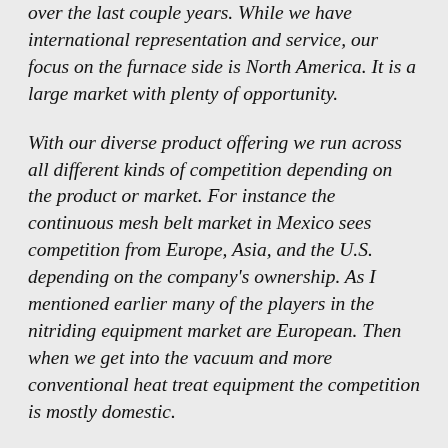over the last couple years. While we have international representation and service, our focus on the furnace side is North America. It is a large market with plenty of opportunity.
With our diverse product offering we run across all different kinds of competition depending on the product or market. For instance the continuous mesh belt market in Mexico sees competition from Europe, Asia, and the U.S. depending on the company's ownership. As I mentioned earlier many of the players in the nitriding equipment market are European. Then when we get into the vacuum and more conventional heat treat equipment the competition is mostly domestic.
The competition does vary quite a bit, and again, we see our advantage as being a strong